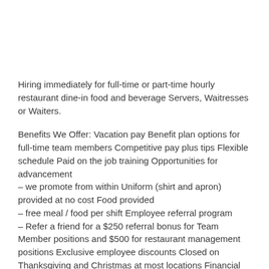Hiring immediately for full-time or part-time hourly restaurant dine-in food and beverage Servers, Waitresses or Waiters.
Benefits We Offer: Vacation pay Benefit plan options for full-time team members Competitive pay plus tips Flexible schedule Paid on the job training Opportunities for advancement – we promote from within Uniform (shirt and apron) provided at no cost Food provided – free meal / food per shift Employee referral program – Refer a friend for a $250 referral bonus for Team Member positions and $500 for restaurant management positions Exclusive employee discounts Closed on Thanksgiving and Christmas at most locations Financial support from the employee-funded Lucky Cat Fund Assistance during times of hardship For qualifying team members Job Summary: The dine-in food and beverage Servers, Waitress or Waiters are core team members of the scratch kitchen